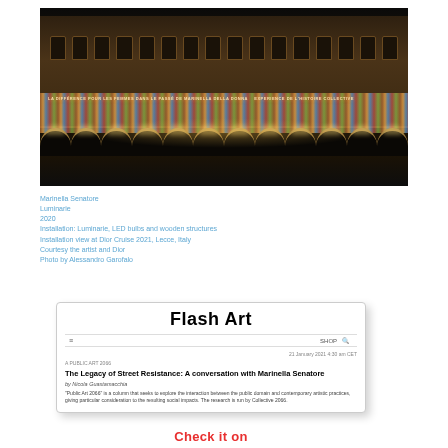[Figure (photo): Night photograph of a classical Italian building facade illuminated with colorful luminarie (LED light installations) in red, white, and blue. Arched colonnades at ground level, ornate facade above, text projections visible across the building. Installation at Dior Cruise 2021, Lecce, Italy.]
Marinella Senatore
Luminarie
2020
Installation: Luminarie, LED bulbs and wooden structures
Installation view at Dior Cruise 2021, Lecce, Italy
Courtesy the artist and Dior
Photo by Alessandro Garofalo
[Figure (screenshot): Screenshot of Flash Art magazine website showing an article titled 'The Legacy of Street Resistance: A conversation with Marinella Senatore' by Nicola Guastamacchia, with introductory text about the Public Art 2066 column.]
Check it on